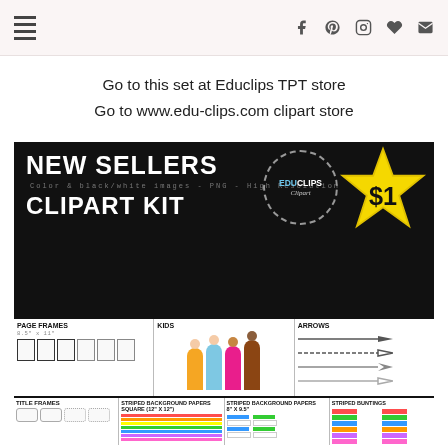Navigation menu and social icons (Facebook, Pinterest, Instagram, Favorites, Email)
Go to this set at Educlips TPT store
Go to www.edu-clips.com clipart store
[Figure (illustration): Product banner image for 'New Sellers Clipart Kit' by Educlips. Black background with bold white text 'NEW SELLERS CLIPART KIT', $1 star badge, Educlips Clipart logo badge, and a grid of preview images: Page Frames, Kids, Arrows (top row) and Title Frames, Striped Background Papers Square, Striped Background Papers, Striped Buntings (bottom row partial).]